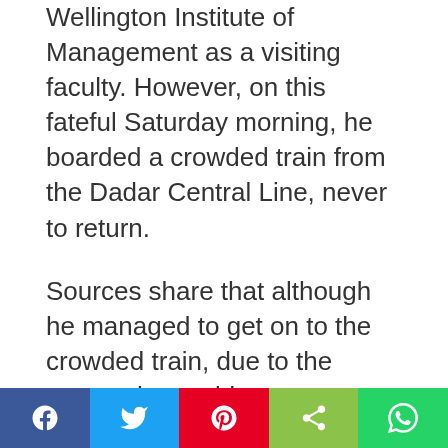Wellington Institute of Management as a visiting faculty. However, on this fateful Saturday morning, he boarded a crowded train from the Dadar Central Line, never to return.
Sources share that although he managed to get on to the crowded train, due to the swarm, he could not enter properly and hit the first signal outside the station, after which he fell down. Since the train had just left the station, people around immediately rushed him to a hospital, but the injuries took their toll. He breathed his last even before reaching the hospital. He leaves behind his wife and two daughters. The
Social sharing bar: Facebook, Twitter, Pinterest, Share, WhatsApp